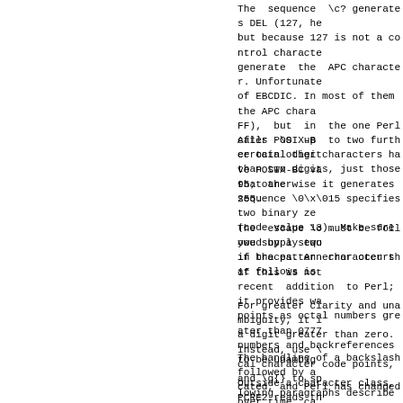The  sequence  \c? generates DEL (127, he but because 127 is not a control characte generate  the  APC character. Unfortunate of EBCDIC. In most of them the APC chara FF),  but  in  the one Perl calls POSIX-B certain other characters have POSIX-BC va 95; otherwise it generates 255.
After  \0  up  to two further octal digit than two digits, just those that are sequence \0\x\015 specifies two binary ze (code value 13). Make sure you supply two if the pattern character that follows is
The  escape \o must be followed by a sequ in braces. An error occurs if this is not recent  addition  to Perl; it provides wa points as octal numbers greater than 0777 numbers and backreferences to be unambig
For greater clarity and unambiguity, it i a digit greater than zero. Instead, use \ cal character code points, and \g{} to sp lowing paragraphs describe the old, ambig
The handling of a backslash followed by a cated, and Perl has changed over time, ca
Outside a character class, PCRE2 reads th its as a decimal number. If the number is digit  8  or  9,  or  if  there are at le groups in the expression, the entire sequ ence.  A  description  of  how this works discussion of parenthesized groups.  Othe